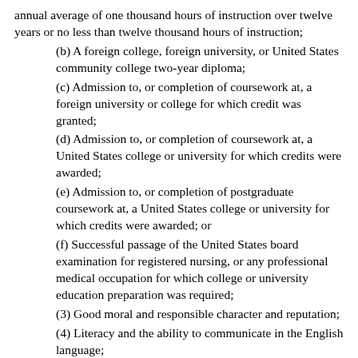annual average of one thousand hours of instruction over twelve years or no less than twelve thousand hours of instruction;
(b) A foreign college, foreign university, or United States community college two-year diploma;
(c) Admission to, or completion of coursework at, a foreign university or college for which credit was granted;
(d) Admission to, or completion of coursework at, a United States college or university for which credits were awarded;
(e) Admission to, or completion of postgraduate coursework at, a United States college or university for which credits were awarded; or
(f) Successful passage of the United States board examination for registered nursing, or any professional medical occupation for which college or university education preparation was required;
(3) Good moral and responsible character and reputation;
(4) Literacy and the ability to communicate in the English language;
(5) Management and administrative ability to carry out the requirements of this chapter;
(6) Satisfactory completion of department-approved basic training and continuing education training as required by RCW 74.39A.074, and in rules adopted by the department;
(7) Satisfactory completion of department-approved, or equivalent, special care training before a provider may provide